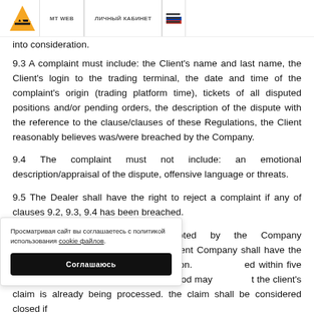MT WEB | ЛИЧНЫЙ КАБИНЕТ | [flag] | [menu]
into consideration.
9.3 A complaint must include: the Client's name and last name, the Client's login to the trading terminal, the date and time of the complaint's origin (trading platform time), tickets of all disputed positions and/or pending orders, the description of the dispute with the reference to the clause/clauses of these Regulations, the Client reasonably believes was/were breached by the Company.
9.4 The complaint must not include: an emotional description/appraisal of the dispute, offensive language or threats.
9.5 The Dealer shall have the right to reject a complaint if any of clauses 9.2, 9.3, 9.4 has been breached.
9.6 Complaints shall be accepted by the Company within … spite arising. The Client Company shall have the right event of a late submission. ed within five business days consideration period may t the client's claim is already being processed. the claim shall be considered closed if
Просматривая сайт вы соглашаетесь с политикой использования cookie файлов.
Соглашаюсь